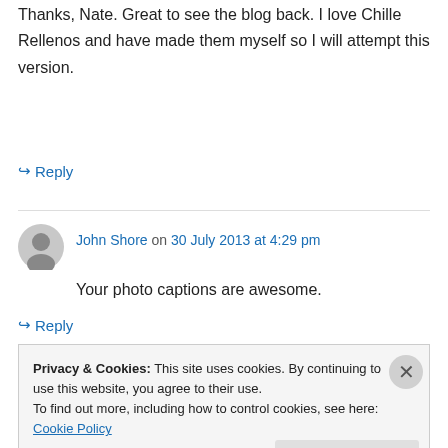Thanks, Nate. Great to see the blog back. I love Chille Rellenos and have made them myself so I will attempt this version.
↳ Reply
John Shore on 30 July 2013 at 4:29 pm
Your photo captions are awesome.
↳ Reply
Privacy & Cookies: This site uses cookies. By continuing to use this website, you agree to their use.
To find out more, including how to control cookies, see here: Cookie Policy
Close and accept